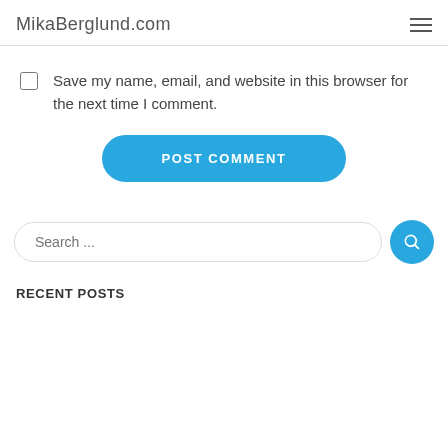MikaBerglund.com
Save my name, email, and website in this browser for the next time I comment.
POST COMMENT
Search ...
RECENT POSTS